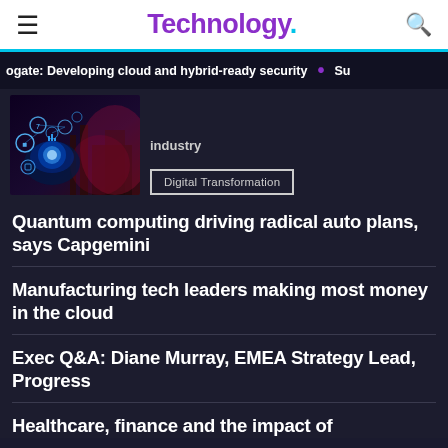Technology
ogate: Developing cloud and hybrid-ready security  •  Sus
industry
[Figure (photo): Technology/industrial image showing digital icons overlaid on industrial background with glowing blue holographic interface elements]
Digital Transformation
Quantum computing driving radical auto plans, says Capgemini
Manufacturing tech leaders making most money in the cloud
Exec Q&A: Diane Murray, EMEA Strategy Lead, Progress
Healthcare, finance and the impact of